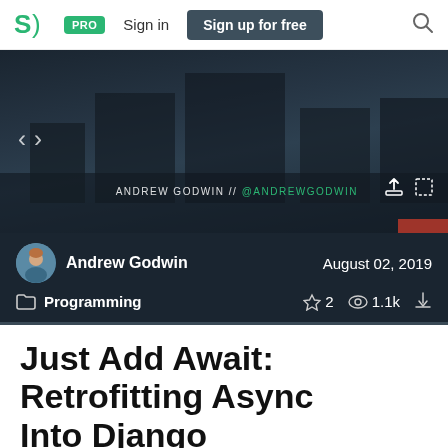SpeakerDeck — PRO | Sign in | Sign up for free
[Figure (screenshot): Slide preview showing a dark city background with navigation arrows and author text: ANDREW GODWIN // @andrewgodwin]
Andrew Godwin   August 02, 2019
Programming   ☆ 2   👁 1.1k   ⬇
Just Add Await: Retrofitting Async Into Django
A talk I gave at PyCon Australia 2019 (and then later gave a modified version of at DjangoCon US 2019)